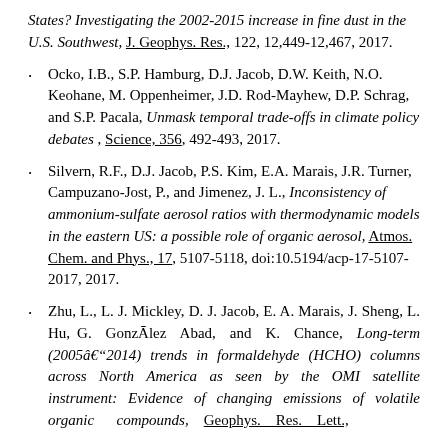States? Investigating the 2002-2015 increase in fine dust in the U.S. Southwest, J. Geophys. Res., 122, 12,449-12,467, 2017.
Ocko, I.B., S.P. Hamburg, D.J. Jacob, D.W. Keith, N.O. Keohane, M. Oppenheimer, J.D. Rod-Mayhew, D.P. Schrag, and S.P. Pacala, Unmask temporal trade-offs in climate policy debates, Science, 356, 492-493, 2017.
Silvern, R.F., D.J. Jacob, P.S. Kim, E.A. Marais, J.R. Turner, Campuzano-Jost, P., and Jimenez, J. L., Inconsistency of ammonium-sulfate aerosol ratios with thermodynamic models in the eastern US: a possible role of organic aerosol, Atmos. Chem. and Phys., 17, 5107-5118, doi:10.5194/acp-17-5107-2017, 2017.
Zhu, L., L. J. Mickley, D. J. Jacob, E. A. Marais, J. Sheng, L. Hu, G. González Abad, and K. Chance, Long-term (2005–2014) trends in formaldehyde (HCHO) columns across North America as seen by the OMI satellite instrument: Evidence of changing emissions of volatile organic compounds, Geophys. Res. Lett.,